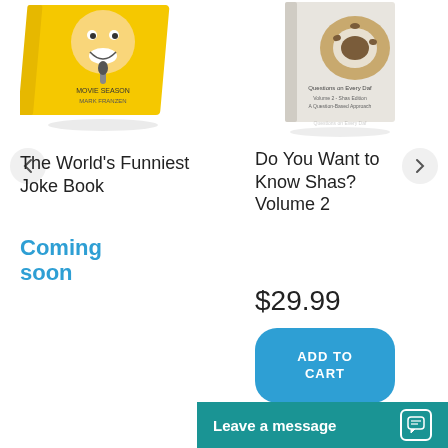[Figure (photo): Yellow book cover with cartoon face character - The World's Funniest Joke Book]
[Figure (photo): White/grey book cover - Do You Want to Know Shas? Volume 2]
The World's Funniest Joke Book
Coming soon
Do You Want to Know Shas? Volume 2
$29.99
ADD TO CART
Leave a message